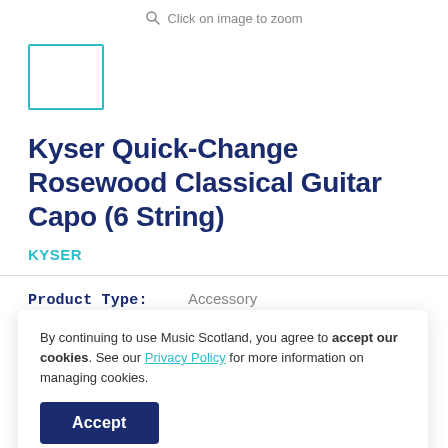Click on image to zoom
[Figure (other): Thumbnail image placeholder box with teal border]
Kyser Quick-Change Rosewood Classical Guitar Capo (6 String)
KYSER
Product Type:    Accessory
By continuing to use Music Scotland, you agree to accept our cookies. See our Privacy Policy for more information on managing cookies.
Accept